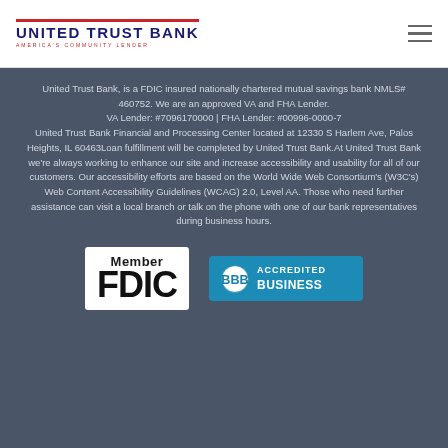[Figure (logo): United Trust Bank logo with red top border, navy text 'UNITED TRUST BANK' and red subtitle 'AMERICA'S COMMUNITY LENDER']
United Trust Bank, is a FDIC insured nationally chartered mutual savings bank NMLS# 460752. We are an approved VA and FHA Lender. VA Lender: #7096170000 | FHA Lender: #00996-0000-7 United Trust Bank Financial and Processing Center located at 12330 S Harlem Ave, Palos Heights, IL 60463Loan fulfillment will be completed by United Trust Bank.At United Trust Bank we're always working to enhance our site and increase accessibility and usability for all of our customers. Our accessibility efforts are based on the World Wide Web Consortium's (W3C's) Web Content Accessibility Guidelines (WCAG) 2.0, Level AA. Those who need further assistance can visit a local branch or talk on the phone with one of our bank representatives during business hours.
[Figure (logo): Member FDIC badge in black text]
[Figure (logo): BBB Accredited Business badge with teal/blue background]